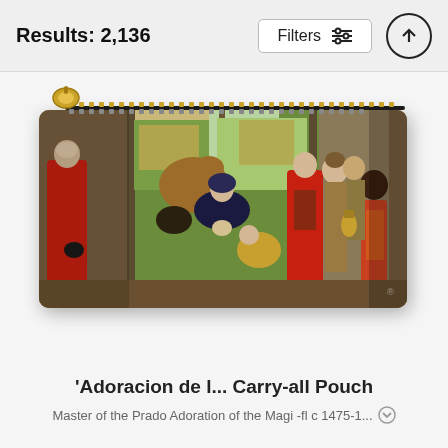Results: 2,136
[Figure (photo): A carry-all pouch product featuring a reproduction of 'Adoracion de los Reyes Magos' (Adoration of the Magi) painting by Master of the Prado Adoration of the Magi, c. 1475. The pouch has a gold zipper at the top and shows the full painting with the Virgin Mary, Christ child, and the three Magi.]
'Adoracion de l... Carry-all Pouch
Master of the Prado Adoration of the Magi -fl c 1475-1...